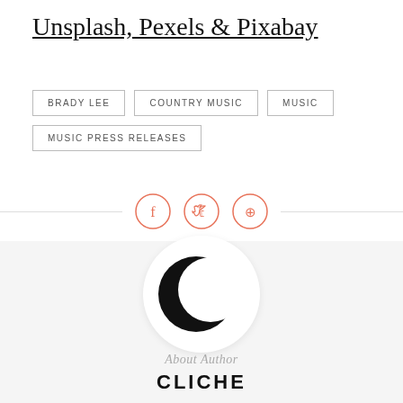Unsplash, Pexels & Pixabay
BRADY LEE
COUNTRY MUSIC
MUSIC
MUSIC PRESS RELEASES
[Figure (illustration): Social share icons: Facebook, Twitter, Pinterest in coral/salmon colored circles with horizontal divider lines on each side]
[Figure (logo): Circular avatar with crescent moon logo (Cliche magazine logo) on white circle background]
About Author
CLICHE